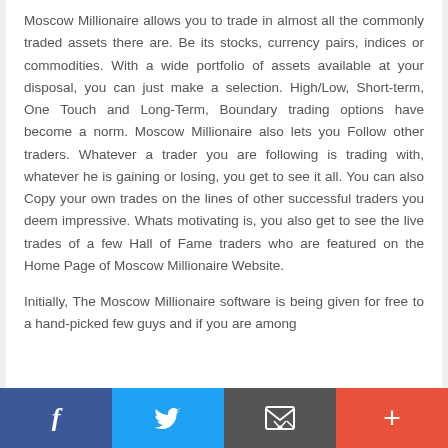Moscow Millionaire allows you to trade in almost all the commonly traded assets there are. Be its stocks, currency pairs, indices or commodities. With a wide portfolio of assets available at your disposal, you can just make a selection. High/Low, Short-term, One Touch and Long-Term, Boundary trading options have become a norm. Moscow Millionaire also lets you Follow other traders. Whatever a trader you are following is trading with, whatever he is gaining or losing, you get to see it all. You can also Copy your own trades on the lines of other successful traders you deem impressive. Whats motivating is, you also get to see the live trades of a few Hall of Fame traders who are featured on the Home Page of Moscow Millionaire Website.
Initially, The Moscow Millionaire software is being given for free to a hand-picked few guys and if you are among
f | tweet | email | +